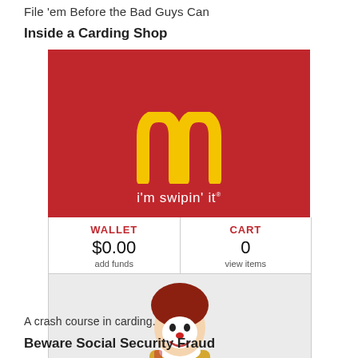File 'em Before the Bad Guys Can
Inside a Carding Shop
[Figure (screenshot): Screenshot of a parody carding shop website styled after McDonald's branding. Shows red McDonald's-style background with golden arches logo, text 'i'm swipin' it', and below it a wallet/cart interface showing WALLET $0.00 add funds | CART 0 view items. Below that a parody image of Ronald McDonald holding a gun.]
A crash course in carding.
Beware Social Security Fraud